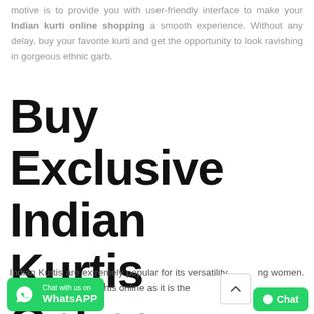motive is to provide you with user-friendly interface to make your Indian kurti online shopping a smooth experience. Without any delay, buy your favorite kurti and get the opportunity to look ravishing in gorgeous ethnic garb.
Buy Exclusive Indian Kurtis Online
Indian Kurtis are extremely popular for its versatility among women. You can buy Indian Kurtis online as it is the ... ve you modern touch along with t...